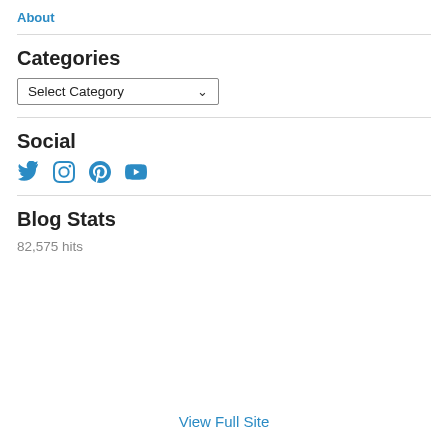About
Categories
Select Category
Social
[Figure (other): Social media icons: Twitter, Instagram, Pinterest, YouTube]
Blog Stats
82,575 hits
View Full Site